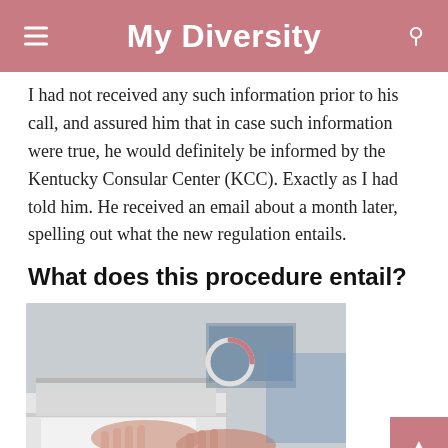My Diversity
I had not received any such information prior to his call, and assured him that in case such information were true, he would definitely be informed by the Kentucky Consular Center (KCC). Exactly as I had told him. He received an email about a month later, spelling out what the new regulation entails.
What does this procedure entail?
[Figure (photo): Person using a photocopier/scanner, hands pressing documents onto the glass surface of the machine]